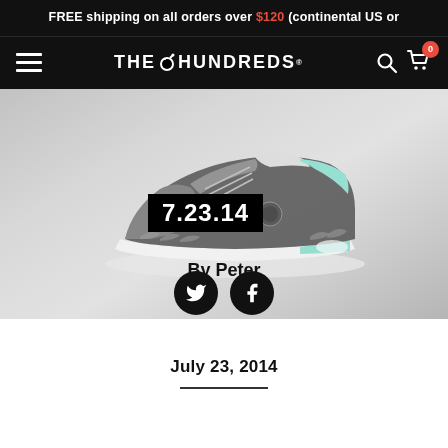FREE shipping on all orders over $120 (continental US or
[Figure (screenshot): The Hundreds logo navigation bar with hamburger menu, The Hundreds wordmark logo, search and cart icons with red badge showing 0]
[Figure (photo): Air Jordan 3 sneaker in black/grey/mint colorway on grey background with date overlay '7.23.14' and byline 'By Peter' with Twitter and Facebook social share icons]
July 23, 2014